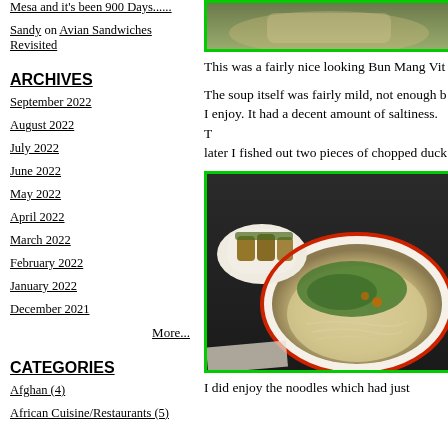Mesa and it's been 900 Days......
Sandy on Avian Sandwiches Revisited
ARCHIVES
September 2022
August 2022
July 2022
June 2022
May 2022
April 2022
March 2022
February 2022
January 2022
December 2021
More...
CATEGORIES
Afghan (4)
African Cuisine/Restaurants (5)
[Figure (photo): Top photo: food dish with green garnish, partially visible at top]
This was a fairly nice looking Bun Mang Vit
The soup itself was fairly mild, not enough b... I enjoy. It had a decent amount of saltiness. T... later I fished out two pieces of chopped duck
[Figure (photo): Bowl of Vietnamese noodle soup (Bun Mang Vit) with green herbs and a side plate of duck meat]
I did enjoy the noodles which had just